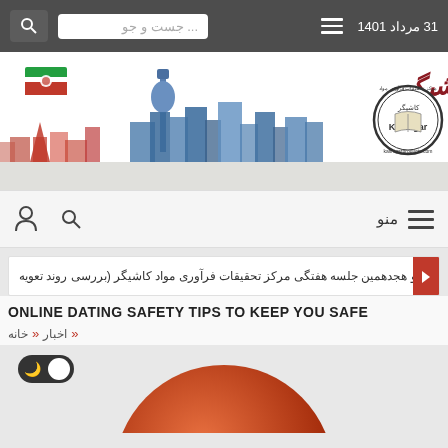31 مرداد 1401 | جست و جو... | ☰ | 🔍
[Figure (logo): Kashigar Research Center logo banner with Iranian city skyline and Persian calligraphic text]
منو | 🔍 | 👤
چهارصد و هجدهمین جلسه هفتگی مرکز تحقیقات فرآوری مواد کاشیگر (بررسی روند تعویه
ONLINE DATING SAFETY TIPS TO KEEP YOU SAFE
خانه « اخبار «
[Figure (photo): Dark mode toggle switch and partial orange/red circular image at bottom of page]